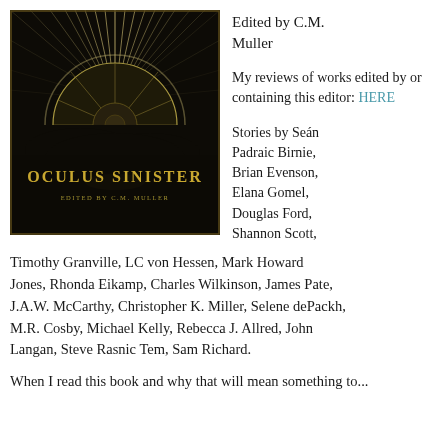[Figure (illustration): Book cover of 'Oculus Sinister' edited by C.M. Muller. Dark background with a large circular citrus slice emitting rays of light like a sun, with clouds below. Gold text reads 'OCULUS SINISTER' and 'EDITED BY C.M. MULLER'.]
Edited by C.M. Muller
My reviews of works edited by or containing this editor: HERE
Stories by Seán Padraic Birnie, Brian Evenson, Elana Gomel, Douglas Ford, Shannon Scott, Timothy Granville, LC von Hessen, Mark Howard Jones, Rhonda Eikamp, Charles Wilkinson, James Pate, J.A.W. McCarthy, Christopher K. Miller, Selene dePackh, M.R. Cosby, Michael Kelly, Rebecca J. Allred, John Langan, Steve Rasnic Tem, Sam Richard.
When I read this book and why that will mean something to...